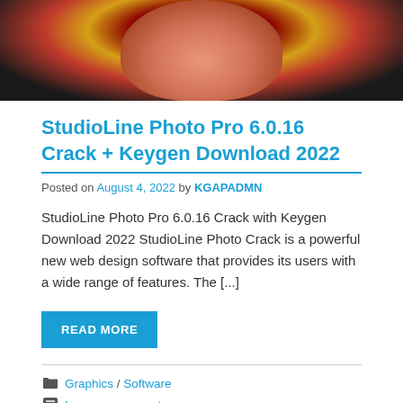[Figure (photo): Portrait photo of a woman with red, yellow and pink hair against a dark background, cropped at the top of the page]
StudioLine Photo Pro 6.0.16 Crack + Keygen Download 2022
Posted on August 4, 2022 by KGAPADMN
StudioLine Photo Pro 6.0.16 Crack with Keygen Download 2022 StudioLine Photo Crack is a powerful new web design software that provides its users with a wide range of features. The [...]
READ MORE
Graphics / Software
Leave a comment